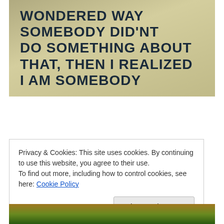[Figure (photo): A photo of a sign with bold black uppercase text on a yellowish-beige background reading: 'WONDERED WAY SOMEBODY DID'NT DO SOMETHING ABOUT THAT, THEN I REALIZED I AM SOMEBODY']
Privacy & Cookies: This site uses cookies. By continuing to use this website, you agree to their use.
To find out more, including how to control cookies, see here: Cookie Policy
[Figure (photo): Bottom portion of a photo showing colorful textiles or clothing items.]